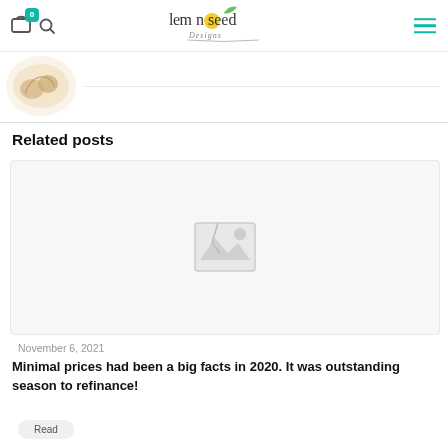Lemon Seed Designs
[Figure (photo): Partial product thumbnail image visible at top left]
Related posts
[Figure (photo): Placeholder image with gray camera icon for a blog post]
November 6, 2021
Minimal prices had been a big facts in 2020. It was outstanding season to refinance!